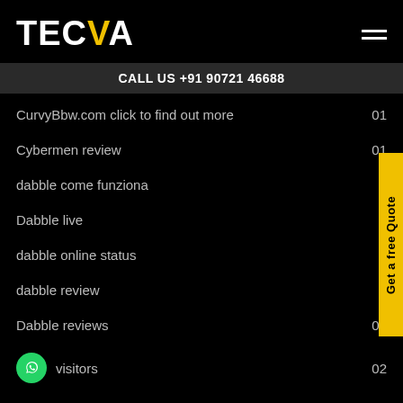TECVA
CALL US +91 90721 46688
CurvyBbw.com click to find out more   01
Cybermen review   01
dabble come funziona
Dabble live
dabble online status
dabble review
Dabble reviews   01
D... visitors   02
daddyhunt dating   01
Get a free Quote